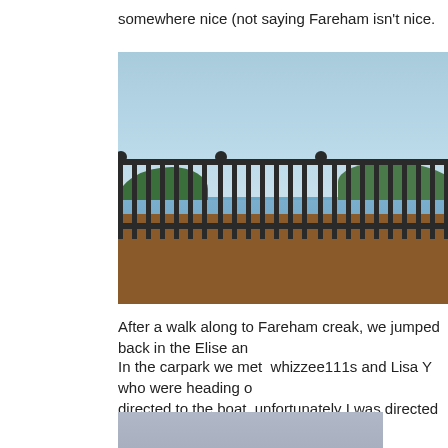somewhere nice (not saying Fareham isn't nice.
[Figure (photo): View of Fareham creek from a deck with a black metal railing in the foreground, calm water with a sailboat in the middle, trees along the far shoreline, and a clear blue sky above.]
After a walk along to Fareham creak, we jumped back in the Elise an
In the carpark we met  whizzee111s and Lisa Y who were heading o directed to the boat, unfortunately I was directed to the upper deck w
[Figure (photo): Partially visible second photo at the bottom of the page.]